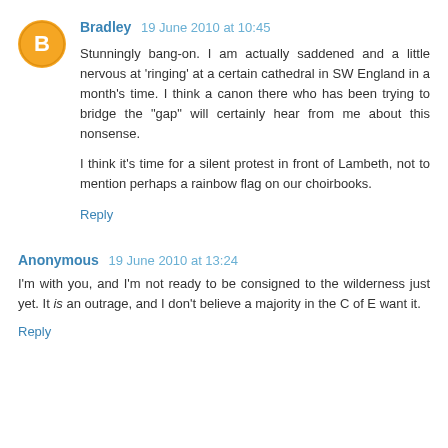Bradley 19 June 2010 at 10:45
Stunningly bang-on. I am actually saddened and a little nervous at 'ringing' at a certain cathedral in SW England in a month's time. I think a canon there who has been trying to bridge the "gap" will certainly hear from me about this nonsense.

I think it's time for a silent protest in front of Lambeth, not to mention perhaps a rainbow flag on our choirbooks.
Reply
Anonymous 19 June 2010 at 13:24
I'm with you, and I'm not ready to be consigned to the wilderness just yet. It is an outrage, and I don't believe a majority in the C of E want it.
Reply